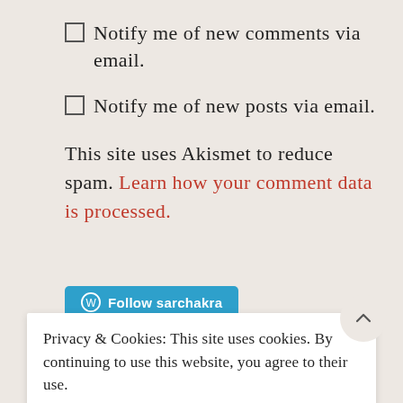Notify me of new comments via email.
Notify me of new posts via email.
This site uses Akismet to reduce spam. Learn how your comment data is processed.
[Figure (other): Follow sarchakra button with WordPress icon]
Privacy & Cookies: This site uses cookies. By continuing to use this website, you agree to their use. To find out more, including how to control cookies, see here: Cookie Policy
CLOSE AND ACCEPT
Enter your email address